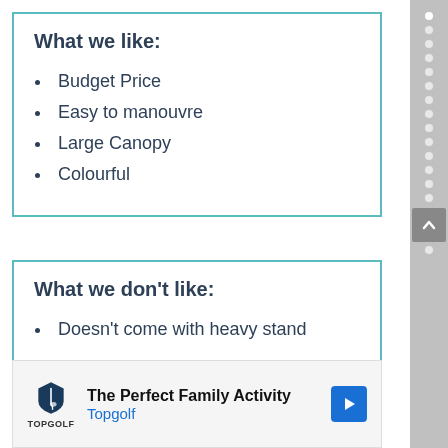What we like:
Budget Price
Easy to manouvre
Large Canopy
Colourful
What we don't like:
Doesn't come with heavy stand
[Figure (other): Advertisement for Topgolf: 'The Perfect Family Activity' with Topgolf logo and navigation arrow icon]